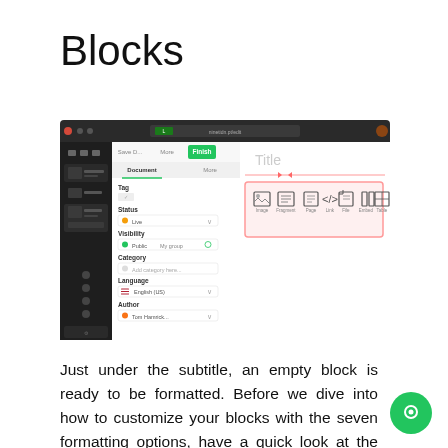Blocks
[Figure (screenshot): Screenshot of a CMS or blog editor interface showing a dark left sidebar with navigation items, a center panel with document settings (Tag, Status, Visibility, Category, Language, Author fields), and a right content panel showing a 'Title' field and a block formatting toolbar with icons (image, fragment, page, link, file, embed, table) highlighted with a red/pink border.]
Just under the subtitle, an empty block is ready to be formatted. Before we dive into how to customize your blocks with the seven formatting options, have a quick look at the buttons above and below the current block. Clicking a